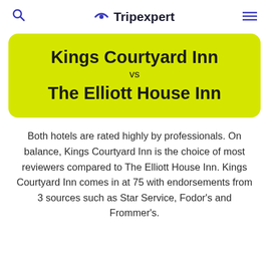Tripexpert
Kings Courtyard Inn vs The Elliott House Inn
Both hotels are rated highly by professionals. On balance, Kings Courtyard Inn is the choice of most reviewers compared to The Elliott House Inn. Kings Courtyard Inn comes in at 75 with endorsements from 3 sources such as Star Service, Fodor's and Frommer's.